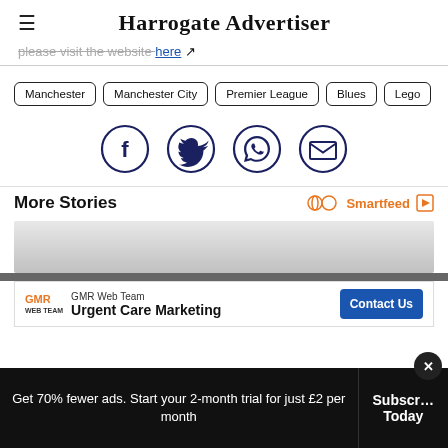Harrogate Advertiser
please visit the website here ↗
Manchester
Manchester City
Premier League
Blues
Lego
[Figure (infographic): Social share icons: Facebook, Twitter, WhatsApp, Email — each in a dark navy circle outline]
More Stories
[Figure (other): Smartfeed logo with infinity/eye icon and arrow play icon in orange]
[Figure (other): Gray gradient content area placeholder for more stories]
[Figure (other): Advertisement banner: GMR Web Team - Urgent Care Marketing with Contact Us button]
Get 70% fewer ads. Start your 2-month trial for just £2 per month
Subscribe Today